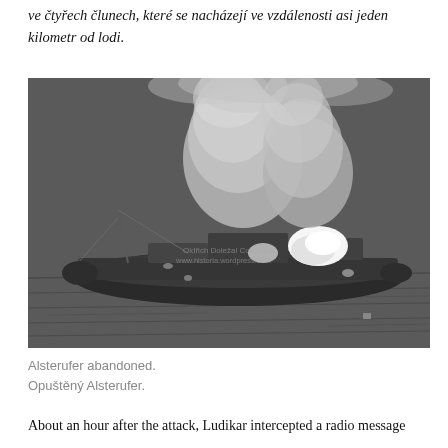ve čtyřech člunech, které se nacházejí ve vzdálenosti asi jeden kilometr od lodi.
[Figure (photo): Aerial black and white photograph of the ship Alsterufer on fire and abandoned at sea, with smoke rising from the vessel.]
Alsterufer abandoned.
Opuštěný Alsterufer.
About an hour after the attack, Ludikar intercepted a radio message